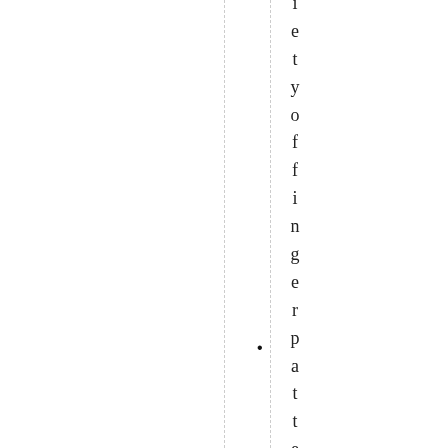iety of finger patterns Students
• (bullet point)